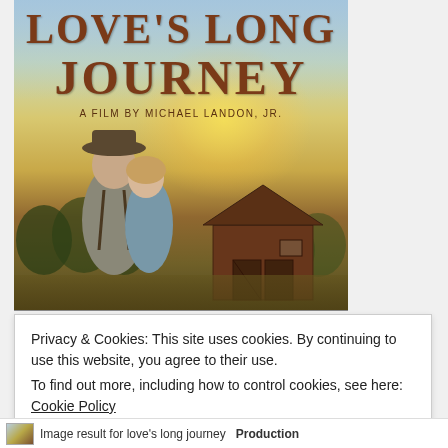[Figure (photo): Movie poster for 'Love's Long Journey', a film by Michael Landon Jr. Shows a man in a cowboy hat and woman embracing in front of a rural barn scene with golden sunset lighting and trees in background.]
Privacy & Cookies: This site uses cookies. By continuing to use this website, you agree to their use.
To find out more, including how to control cookies, see here: Cookie Policy
Close and accept
Image result for love's long journey   Production